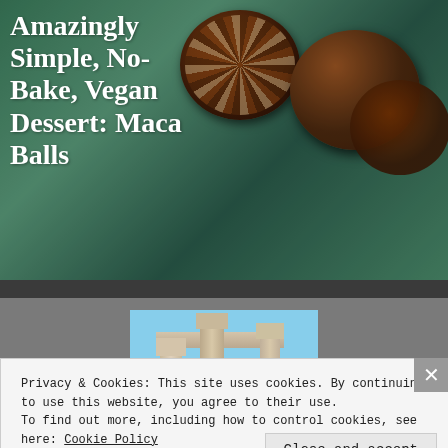Amazingly Simple, No-Bake, Vegan Dessert: Maca Balls
[Figure (photo): Photo of dark chocolate maca balls coated in seeds/nuts on a teal/green background]
[Figure (photo): Photo of ancient Greek stone columns against a blue sky]
Privacy & Cookies: This site uses cookies. By continuing to use this website, you agree to their use. To find out more, including how to control cookies, see here: Cookie Policy
Close and accept